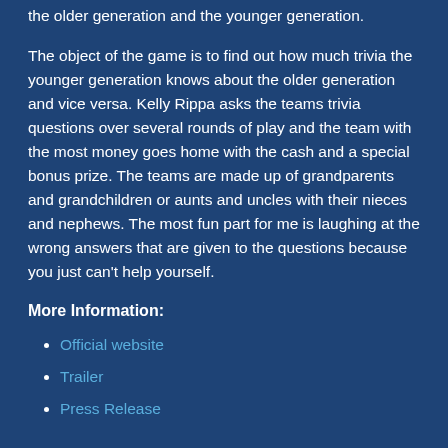the older generation and the younger generation.
The object of the game is to find out how much trivia the younger generation knows about the older generation and vice versa. Kelly Rippa asks the teams trivia questions over several rounds of play and the team with the most money goes home with the cash and a special bonus prize. The teams are made up of grandparents and grandchildren or aunts and uncles with their nieces and nephews. The most fun part for me is laughing at the wrong answers that are given to the questions because you just can't help yourself.
More Information:
Official website
Trailer
Press Release